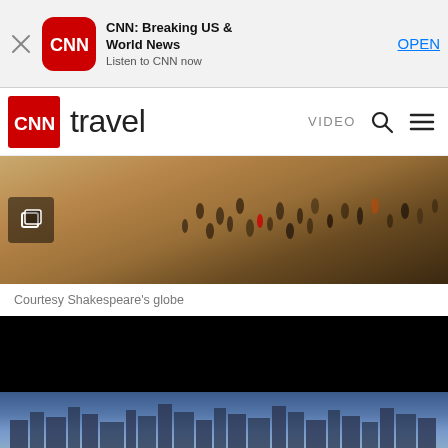[Figure (screenshot): App banner for CNN Breaking US & World News with CNN red logo icon, app title, subtitle 'Listen to CNN now', and OPEN button]
[Figure (screenshot): CNN Travel navigation bar with red CNN logo, 'travel' text, VIDEO, search and menu icons]
[Figure (photo): Aerial overhead photo of crowd of people on a brick/paved outdoor area, presumably at Shakespeare's Globe theatre]
Courtesy Shakespeare’s globe
[Figure (photo): Dark/black photo with a lower strip showing a misty blue cityscape skyline at dusk]